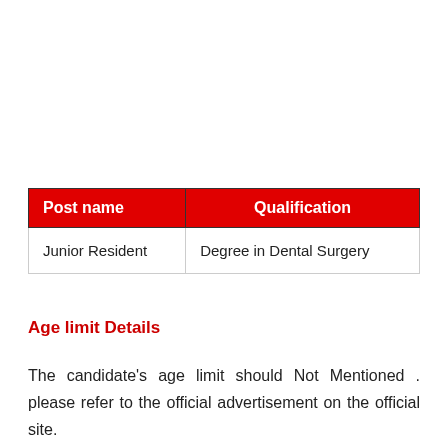| Post name | Qualification |
| --- | --- |
| Junior Resident | Degree in Dental Surgery |
Age limit Details
The candidate's age limit should Not Mentioned . please refer to the official advertisement on the official site.